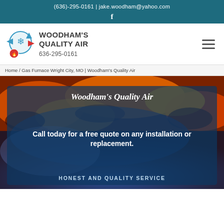(636)-295-0161 | jake.woodham@yahoo.com
[Figure (logo): Facebook icon (f) in white on teal background]
[Figure (logo): Woodham's Quality Air company logo - circular HVAC icon with snowflake, arrows, and flame in blue and red]
WOODHAM'S QUALITY AIR 636-295-0161
[Figure (other): Hamburger menu icon (three horizontal lines)]
Home / Gas Furnace Wright City, MO | Woodham's Quality Air
[Figure (photo): Hero background photo of glowing red/orange hot coals with blue flame overlay]
Woodham's Quality Air
Call today for a free quote on any installation or replacement.
HONEST AND QUALITY SERVICE